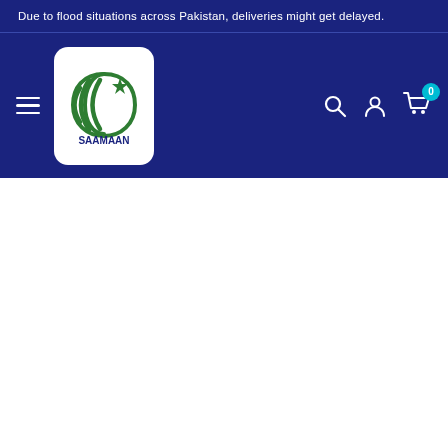Due to flood situations across Pakistan, deliveries might get delayed.
[Figure (logo): Saamaan logo with crescent moon and star in green on white rounded square background, with SAAMAAN text below]
0